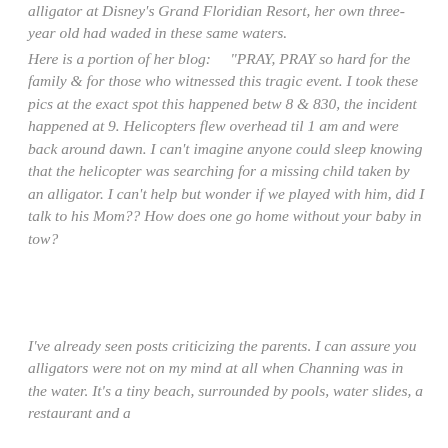alligator at Disney's Grand Floridian Resort, her own three-year old had waded in these same waters.
Here is a portion of her blog:    "PRAY, PRAY so hard for the family & for those who witnessed this tragic event. I took these pics at the exact spot this happened betw 8 & 830, the incident happened at 9. Helicopters flew overhead til 1 am and were back around dawn. I can't imagine anyone could sleep knowing that the helicopter was searching for a missing child taken by an alligator. I can't help but wonder if we played with him, did I talk to his Mom?? How does one go home without your baby in tow?
I've already seen posts criticizing the parents. I can assure you alligators were not on my mind at all when Channing was in the water. It's a tiny beach, surrounded by pools, water slides, a restaurant and a [continues]